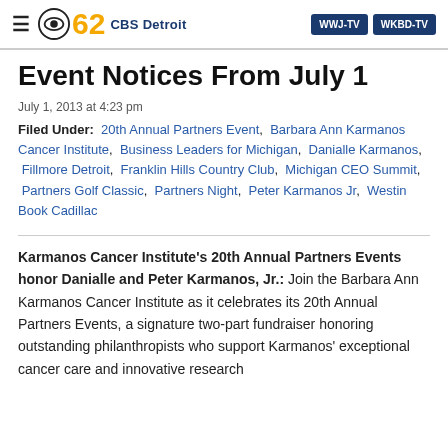CBS 62 CBS Detroit | WWJ-TV | WKBD-TV
Event Notices From July 1
July 1, 2013 at 4:23 pm
Filed Under: 20th Annual Partners Event, Barbara Ann Karmanos Cancer Institute, Business Leaders for Michigan, Danialle Karmanos, Fillmore Detroit, Franklin Hills Country Club, Michigan CEO Summit, Partners Golf Classic, Partners Night, Peter Karmanos Jr, Westin Book Cadillac
Karmanos Cancer Institute's 20th Annual Partners Events honor Danialle and Peter Karmanos, Jr.: Join the Barbara Ann Karmanos Cancer Institute as it celebrates its 20th Annual Partners Events, a signature two-part fundraiser honoring outstanding philanthropists who support Karmanos' exceptional cancer care and innovative research